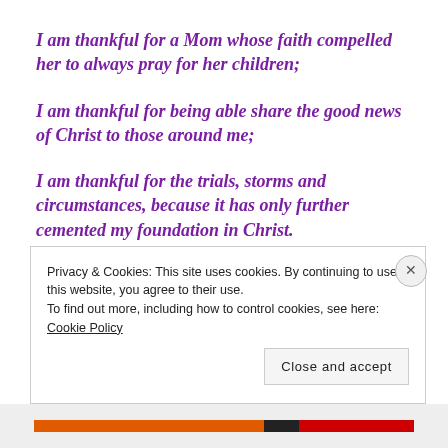I am thankful for a Mom whose faith compelled her to always pray for her children;
I am thankful for being able share the good news of Christ to those around me;
I am thankful for the trials, storms and circumstances, because it has only further cemented my foundation in Christ.
Privacy & Cookies: This site uses cookies. By continuing to use this website, you agree to their use. To find out more, including how to control cookies, see here: Cookie Policy
Close and accept